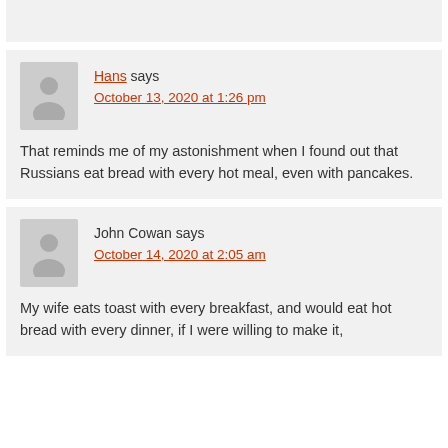Hans says
October 13, 2020 at 1:26 pm

That reminds me of my astonishment when I found out that Russians eat bread with every hot meal, even with pancakes.
John Cowan says
October 14, 2020 at 2:05 am

My wife eats toast with every breakfast, and would eat hot bread with every dinner, if I were willing to make it,